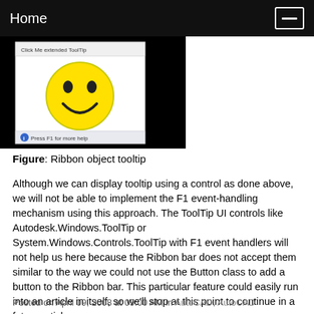Home
[Figure (screenshot): Screenshot of a ribbon tooltip showing a smiley face image inside a tooltip window with 'Click Me extended ToolTip' text at the top and 'Press F1 for more help' at the bottom.]
Figure: Ribbon object tooltip
Although we can display tooltip using a control as done above, we will not be able to implement the F1 event-handling mechanism using this approach. The ToolTip UI controls like Autodesk.Windows.ToolTip or System.Windows.Controls.ToolTip with F1 event handlers will not help us here because the Ribbon bar does not accept them similar to the way we could not use the Button class to add a button to the Ribbon bar. This particular feature could easily run into an article in itself, so we'll stop at this point to continue in a future article.
Posted on April 09, 2008 at 09:00 AM in AutoCAD, AutoCAD